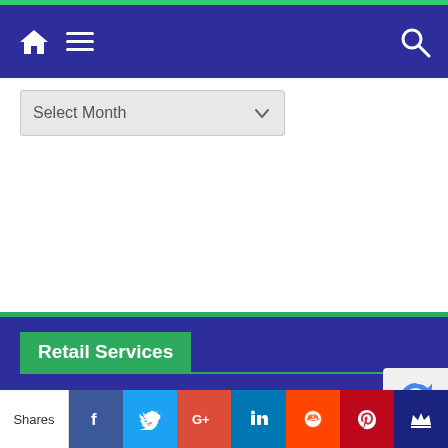[Figure (screenshot): Mobile website navigation bar with dark blue background, home icon, hamburger menu icon on left, and search icon on right, all in white]
[Figure (screenshot): Select Month dropdown control with light grey background and dropdown arrow]
Retail Services
Remittance
Instant Money Transfer
[Figure (screenshot): Social media share bar with Shares label and icons for Facebook, Twitter, Google+, LinkedIn, Reddit, Pinterest, and a crown icon]